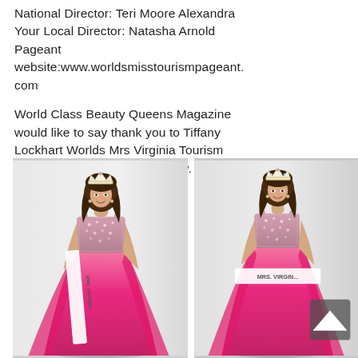National Director: Teri Moore Alexandra
Your Local Director: Natasha Arnold
Pageant website:www.worldsmisstourismpageant.com
World Class Beauty Queens Magazine would like to say thank you to Tiffany Lockhart Worlds Mrs Virginia Tourism 2019 for this amazing interview.
[Figure (photo): Woman in hot pink gown with crown and white MRS. VIRGINIA sash, full-length photo on light background]
[Figure (photo): Woman in hot pink gown with crown and white MRS. VIRGINIA sash, closer view on light background, partially cropped]